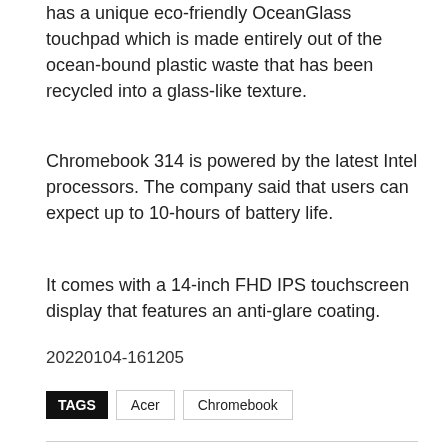has a unique eco-friendly OceanGlass touchpad which is made entirely out of the ocean-bound plastic waste that has been recycled into a glass-like texture.
Chromebook 314 is powered by the latest Intel processors. The company said that users can expect up to 10-hours of battery life.
It comes with a 14-inch FHD IPS touchscreen display that features an anti-glare coating.
20220104-161205
TAGS  Acer  Chromebook